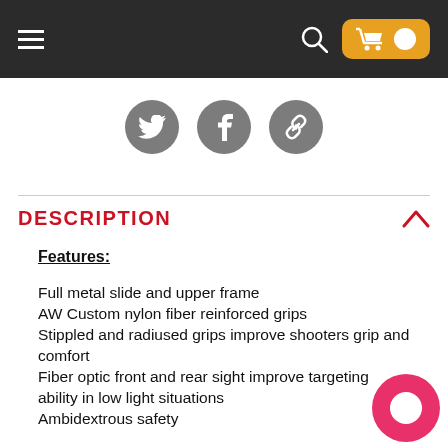Navigation bar with hamburger menu, search icon, and cart button
[Figure (infographic): Social sharing icons: Twitter, Facebook, and link/chain]
DESCRIPTION
Features:
Full metal slide and upper frame
AW Custom nylon fiber reinforced grips
Stippled and radiused grips improve shooters grip and comfort
Fiber optic front and rear sight improve targeting ability in low light situations
Ambidextrous safety
Short stroke recoil spring improves cyclic rate
Frame mounted accessory rail
Enhanced magwell facilitates reloading
Front and rear cocking serrations
Split competition style slide